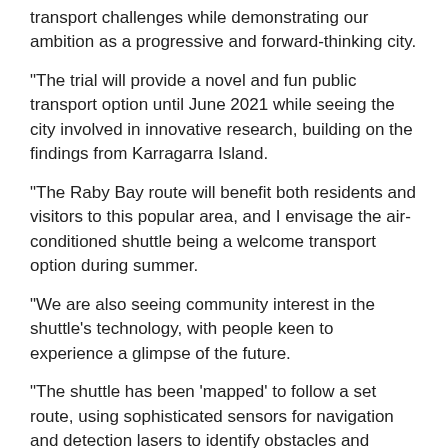transport challenges while demonstrating our ambition as a progressive and forward-thinking city.
“The trial will provide a novel and fun public transport option until June 2021 while seeing the city involved in innovative research, building on the findings from Karragarra Island.
“The Raby Bay route will benefit both residents and visitors to this popular area, and I envisage the air-conditioned shuttle being a welcome transport option during summer.
“We are also seeing community interest in the shuttle’s technology, with people keen to experience a glimpse of the future.
“The shuttle has been ‘mapped’ to follow a set route, using sophisticated sensors for navigation and detection lasers to identify obstacles and ensure safe stopping and slowing.